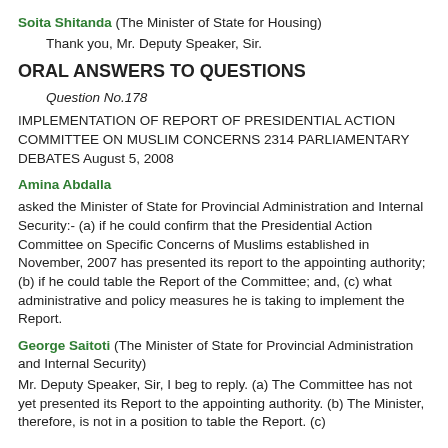Soita Shitanda (The Minister of State for Housing)
    Thank you, Mr. Deputy Speaker, Sir.
ORAL ANSWERS TO QUESTIONS
Question No.178
IMPLEMENTATION OF REPORT OF PRESIDENTIAL ACTION COMMITTEE ON MUSLIM CONCERNS 2314 PARLIAMENTARY DEBATES August 5, 2008
Amina Abdalla
asked the Minister of State for Provincial Administration and Internal Security:- (a) if he could confirm that the Presidential Action Committee on Specific Concerns of Muslims established in November, 2007 has presented its report to the appointing authority; (b) if he could table the Report of the Committee; and, (c) what administrative and policy measures he is taking to implement the Report.
George Saitoti (The Minister of State for Provincial Administration and Internal Security)
Mr. Deputy Speaker, Sir, I beg to reply. (a) The Committee has not yet presented its Report to the appointing authority. (b) The Minister, therefore, is not in a position to table the Report. (c)